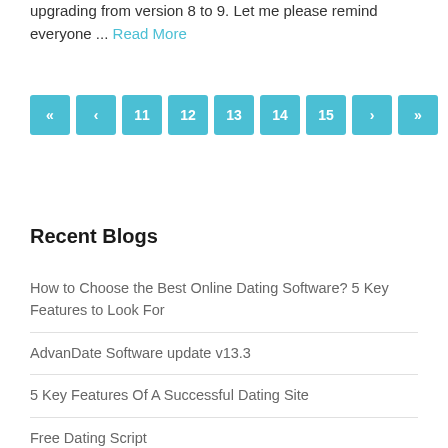upgrading from version 8 to 9. Let me please remind everyone ... Read More
« ‹ 11 12 13 14 15 › »
Recent Blogs
How to Choose the Best Online Dating Software? 5 Key Features to Look For
AdvanDate Software update v13.3
5 Key Features Of A Successful Dating Site
Free Dating Script